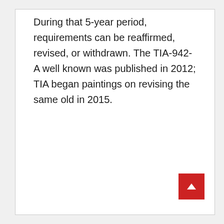During that 5-year period, requirements can be reaffirmed, revised, or withdrawn. The TIA-942-A well known was published in 2012; TIA began paintings on revising the same old in 2015.